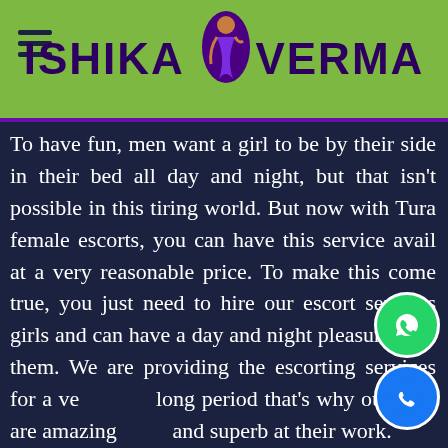ISHIKA VERMA
To have fun, men want a girl to be by their side in their bed all day and night, but that isn't possible in this tiring world. But now with Tura female escorts, you can have this service avail at a very reasonable price. To make this come true, you just need to hire our escort services girls and can have a day and night pleasure with them. We are providing the escorting services for a very long period that's why our girls are amazing and superb at their work.